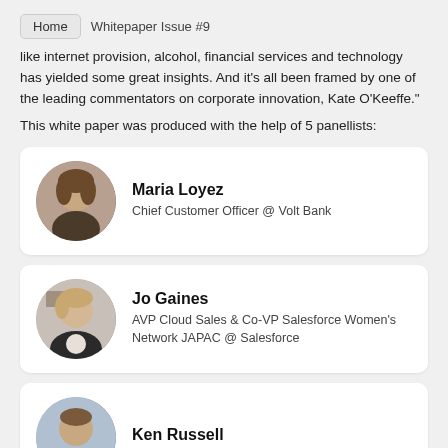Home  Whitepaper Issue #9
like internet provision, alcohol, financial services and technology has yielded some great insights. And it’s all been framed by one of the leading commentators on corporate innovation, Kate O’Keeffe."
This white paper was produced with the help of 5 panellists:
[Figure (photo): Circular portrait photo of Maria Loyez]
Maria Loyez
Chief Customer Officer @ Volt Bank
[Figure (photo): Circular portrait photo of Jo Gaines]
Jo Gaines
AVP Cloud Sales & Co-VP Salesforce Women's Network JAPAC @ Salesforce
[Figure (photo): Circular portrait photo of Ken Russell]
Ken Russell